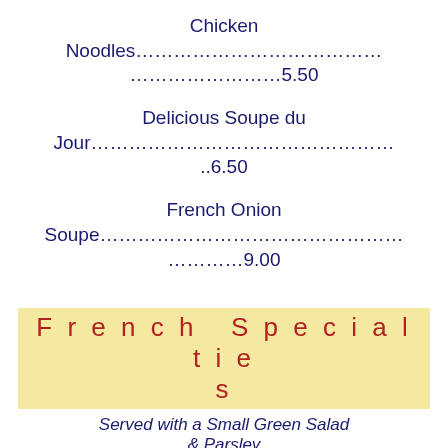Chicken Noodles.....................................5.50
Delicious Soupe du Jour....................................6.50
French Onion Soupe......................................9.00
French Specialties
Served with a Small Green Salad & Parsley